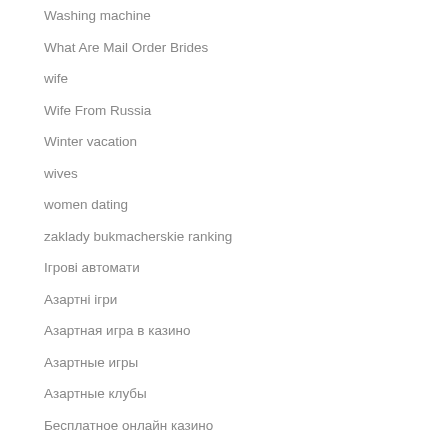Washing machine
What Are Mail Order Brides
wife
Wife From Russia
Winter vacation
wives
women dating
zaklady bukmacherskie ranking
Ігрові автомати
Азартні ігри
Азартная игра в казино
Азартные игры
Азартные клубы
Бесплатное онлайн казино
Бонусы в казино